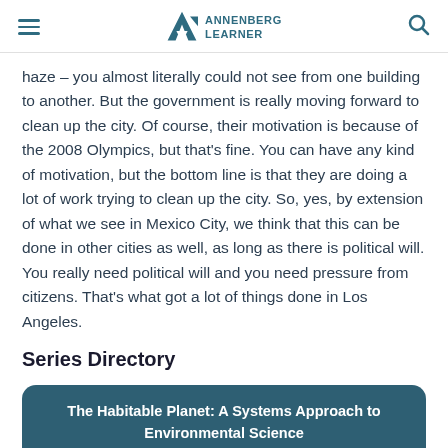ANNENBERG LEARNER
haze – you almost literally could not see from one building to another. But the government is really moving forward to clean up the city. Of course, their motivation is because of the 2008 Olympics, but that's fine. You can have any kind of motivation, but the bottom line is that they are doing a lot of work trying to clean up the city. So, yes, by extension of what we see in Mexico City, we think that this can be done in other cities as well, as long as there is political will. You really need political will and you need pressure from citizens. That's what got a lot of things done in Los Angeles.
Series Directory
The Habitable Planet: A Systems Approach to Environmental Science